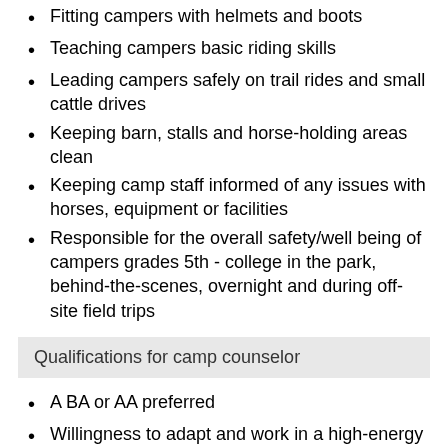Fitting campers with helmets and boots
Teaching campers basic riding skills
Leading campers safely on trail rides and small cattle drives
Keeping barn, stalls and horse-holding areas clean
Keeping camp staff informed of any issues with horses, equipment or facilities
Responsible for the overall safety/well being of campers grades 5th - college in the park, behind-the-scenes, overnight and during off-site field trips
Qualifications for camp counselor
A BA or AA preferred
Willingness to adapt and work in a high-energy environment